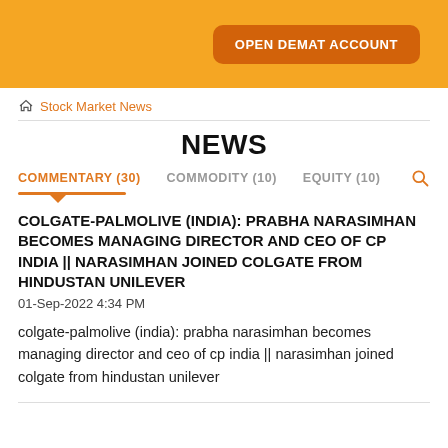[Figure (other): Orange banner header with 'OPEN DEMAT ACCOUNT' button]
Stock Market News
NEWS
COMMENTARY (30)   COMMODITY (10)   EQUITY (10)
COLGATE-PALMOLIVE (INDIA): PRABHA NARASIMHAN BECOMES MANAGING DIRECTOR AND CEO OF CP INDIA || NARASIMHAN JOINED COLGATE FROM HINDUSTAN UNILEVER
01-Sep-2022 4:34 PM
colgate-palmolive (india): prabha narasimhan becomes managing director and ceo of cp india || narasimhan joined colgate from hindustan unilever